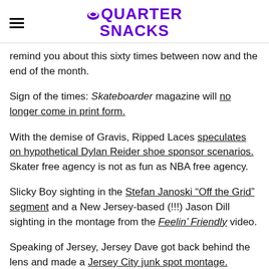QUARTER SNACKS
remind you about this sixty times between now and the end of the month.
Sign of the times: Skateboarder magazine will no longer come in print form.
With the demise of Gravis, Ripped Laces speculates on hypothetical Dylan Reider shoe sponsor scenarios. Skater free agency is not as fun as NBA free agency.
Slicky Boy sighting in the Stefan Janoski “Off the Grid” segment and a New Jersey-based (!!!) Jason Dill sighting in the montage from the Feelin’ Friendly video.
Speaking of Jersey, Jersey Dave got back behind the lens and made a Jersey City junk spot montage. Always fun to